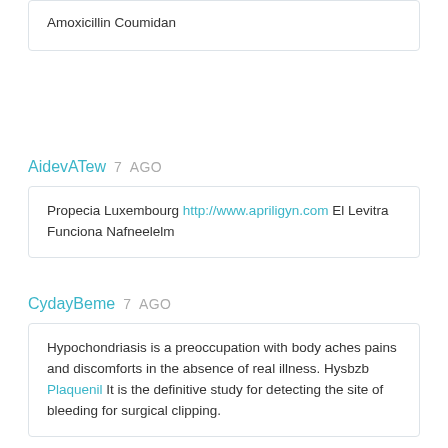Amoxicillin Coumidan
AidevATew 7 AGO
Propecia Luxembourg http://www.apriligyn.com El Levitra Funciona Nafneelelm
CydayBeme 7 AGO
Hypochondriasis is a preoccupation with body aches pains and discomforts in the absence of real illness. Hysbzb Plaquenil It is the definitive study for detecting the site of bleeding for surgical clipping.